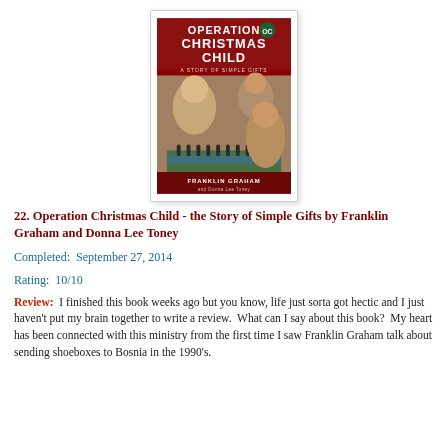[Figure (illustration): Book cover of 'Operation Christmas Child - A Story of Simple Gifts' by Franklin Graham and Donna Lee Toney. Red background with white title text and photos of children.]
22. Operation Christmas Child - the Story of Simple Gifts by Franklin Graham and Donna Lee Toney
Completed:  September 27, 2014
Rating:  10/10
Review:  I finished this book weeks ago but you know, life just sorta got hectic and I just haven't put my brain together to write a review.  What can I say about this book?  My heart has been connected with this ministry from the first time I saw Franklin Graham talk about sending shoeboxes to Bosnia in the 1990's.